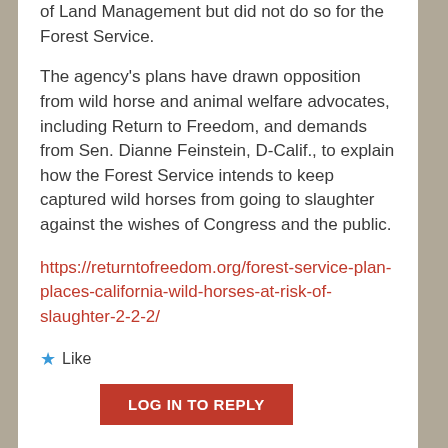of Land Management but did not do so for the Forest Service.
The agency’s plans have drawn opposition from wild horse and animal welfare advocates, including Return to Freedom, and demands from Sen. Dianne Feinstein, D-Calif., to explain how the Forest Service intends to keep captured wild horses from going to slaughter against the wishes of Congress and the public.
https://returntofreedom.org/forest-service-plan-places-california-wild-horses-at-risk-of-slaughter-2-2-2/
Like
LOG IN TO REPLY
Louis C...